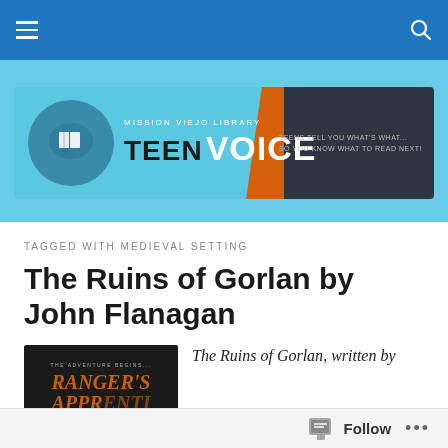[Figure (screenshot): Website navigation bar with hamburger menu and search icon on blue background]
[Figure (logo): Mission Viejo Library Teen Voice banner logo with book icon, orange and dark grey gradient, tagline: TEENS TELL YOU WHAT'S WHAT... SO YOU KNOW WHAT TO READ NEXT!]
TAGGED WITH MEDIEVAL SETTING
The Ruins of Gorlan by John Flanagan
[Figure (photo): Book cover of Ranger's Apprentice: The Adventure Begins, dark background with orange stylized text]
The Ruins of Gorlan, written by